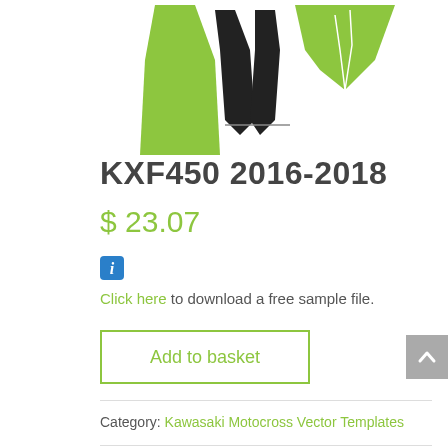[Figure (illustration): Product image showing KXF450 2016-2018 motocross vector templates — green and black silhouettes of dirt bike body panels]
KXF450 2016-2018
$ 23.07
[Figure (infographic): Blue information icon (i)]
Click here to download a free sample file.
Add to basket
Category: Kawasaki Motocross Vector Templates